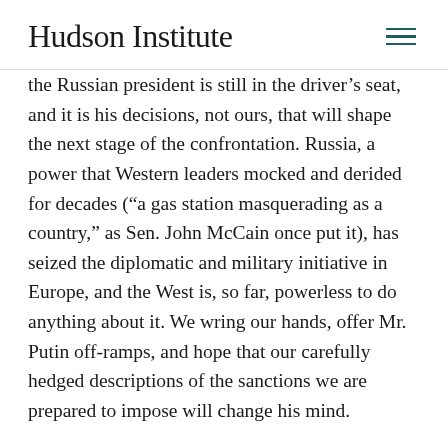Hudson Institute
the Russian president is still in the driver’s seat, and it is his decisions, not ours, that will shape the next stage of the confrontation. Russia, a power that Western leaders mocked and derided for decades (“a gas station masquerading as a country,” as Sen. John McCain once put it), has seized the diplomatic and military initiative in Europe, and the West is, so far, powerless to do anything about it. We wring our hands, offer Mr. Putin off-ramps, and hope that our carefully hedged descriptions of the sanctions we are prepared to impose will change his mind.
At best, we’ve improvised a quick and dirty response to